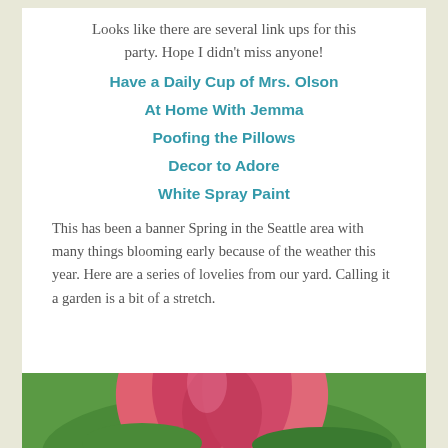Looks like there are several link ups for this party. Hope I didn't miss anyone!
Have a Daily Cup of Mrs. Olson
At Home With Jemma
Poofing the Pillows
Decor to Adore
White Spray Paint
This has been a banner Spring in the Seattle area with many things blooming early because of the weather this year. Here are a series of lovelies from our yard. Calling it a garden is a bit of a stretch.
[Figure (photo): Close-up photo of a pink flower (tulip or similar) with green foliage in the background]